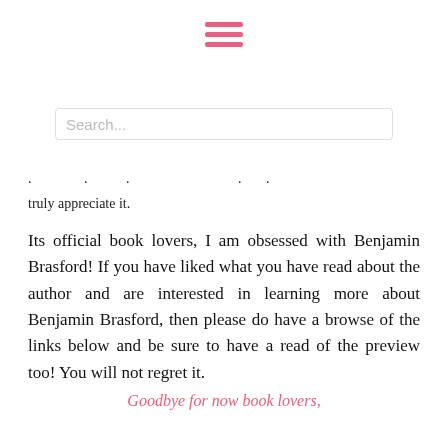[Figure (illustration): Hamburger menu icon with three pink horizontal lines]
Search...
truly appreciate it.
Its official book lovers, I am obsessed with Benjamin Brasford! If you have liked what you have read about the author and are interested in learning more about Benjamin Brasford, then please do have a browse of the links below and be sure to have a read of the preview too! You will not regret it.
Goodbye for now book lovers,